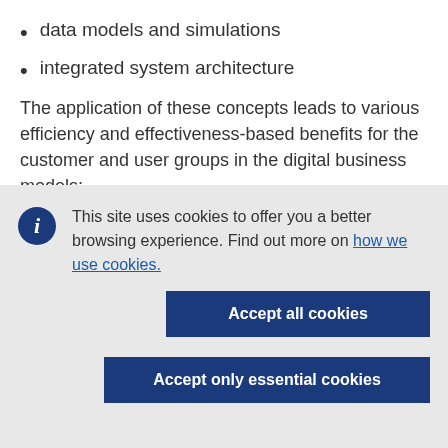data models and simulations
integrated system architecture
The application of these concepts leads to various efficiency and effectiveness-based benefits for the customer and user groups in the digital business models:
This site uses cookies to offer you a better browsing experience. Find out more on how we use cookies.
Accept all cookies
Accept only essential cookies